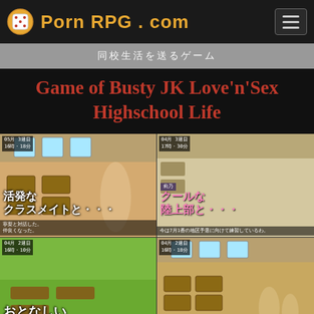Porn RPG . com
[Figure (screenshot): Website screenshot of PornRPG.com showing game page for 'Game of Busty JK Love'n'Sex Highschool Life' with four gameplay screenshots in a 2x2 grid, each showing anime-style characters with Japanese text overlays]
Game of Busty JK Love'n'Sex Highschool Life